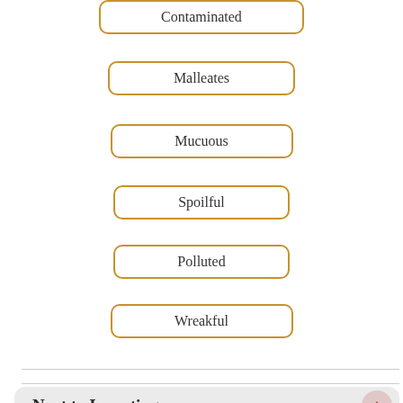Contaminated
Malleates
Mucuous
Spoilful
Polluted
Wreakful
Next to Irrupting
Irruptions